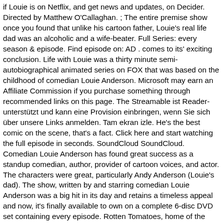if Louie is on Netflix, and get news and updates, on Decider. Directed by Matthew O'Callaghan. ; The entire premise show once you found that unlike his cartoon father, Louie's real life dad was an alcoholic and a wife-beater. Full Series: every season & episode. Find episode on: AD . comes to its' exciting conclusion. Life with Louie was a thirty minute semi-autobiographical animated series on FOX that was based on the childhood of comedian Louie Anderson. Microsoft may earn an Affiliate Commission if you purchase something through recommended links on this page. The Streamable ist Reader-unterstützt und kann eine Provision einbringen, wenn Sie sich über unsere Links anmelden. Tam ekran izle. He's the best comic on the scene, that's a fact. Click here and start watching the full episode in seconds. SoundCloud SoundCloud. Comedian Louie Anderson has found great success as a standup comedian, author, provider of cartoon voices, and actor. The characters were great, particularly Andy Anderson (Louie's dad). The show, written by and starring comedian Louie Anderson was a big hit in its day and retains a timeless appeal and now, it's finally available to own on a complete 6-disc DVD set containing every episode. Rotten Tomatoes, home of the Tomatometer, is the most trusted measurement of quality for Movies & TV. It's Life With Louie. But the episodes were written well and were always funny. Mixed Series 20. Life with Louie season 3 episode guide on TV.com. The same world most of us live in. Life with Louie The show is based on the childhood of stand-up comedian Louie Anderson, growing up with his family in Wisconsin,